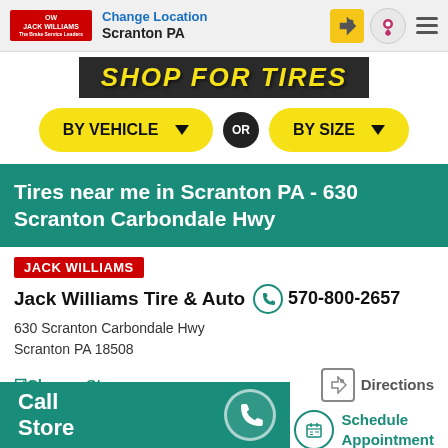Jack Williams Tire & Auto - Change Location - Scranton PA
[Figure (screenshot): Shop for Tires banner with italic bold yellow text on dark background]
BY VEHICLE ▼  OR  BY SIZE ▼
Tires near me in Scranton PA - 630 Scranton Carbondale Hwy
JACK WILLIAMS
Jack Williams Tire & Auto  570-800-2657
630 Scranton Carbondale Hwy
Scranton PA 18508
✓Change Store   Directions
Open Until 6:00PM - Hours ▼   Schedule Appointment
Call Store